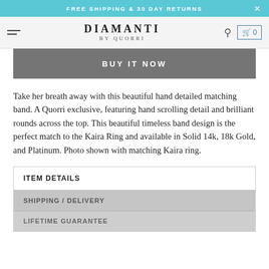FREE SHIPPING & 30 DAY RETURNS
[Figure (logo): Diamanti by Quorri logo with hamburger menu, search icon, and cart icon showing 0 items]
BUY IT NOW
Take her breath away with this beautiful hand detailed matching band. A Quorri exclusive, featuring hand scrolling detail and brilliant rounds across the top. This beautiful timeless band design is the perfect match to the Kaira Ring and available in Solid 14k, 18k Gold, and Platinum. Photo shown with matching Kaira ring.
ITEM DETAILS
SHIPPING / DELIVERY
LIFETIME GUARANTEE